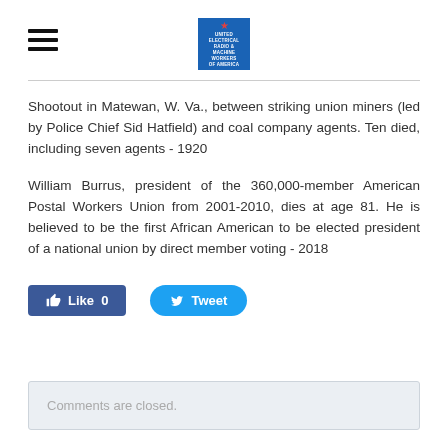[Figure (logo): Hamburger menu icon (three horizontal lines) on the left, and a blue square logo with white star and text in the center]
Shootout in Matewan, W. Va., between striking union miners (led by Police Chief Sid Hatfield) and coal company agents. Ten died, including seven agents - 1920
William Burrus, president of the 360,000-member American Postal Workers Union from 2001-2010, dies at age 81. He is believed to be the first African American to be elected president of a national union by direct member voting - 2018
[Figure (other): Facebook Like button showing Like 0 and Twitter Tweet button]
Comments are closed.